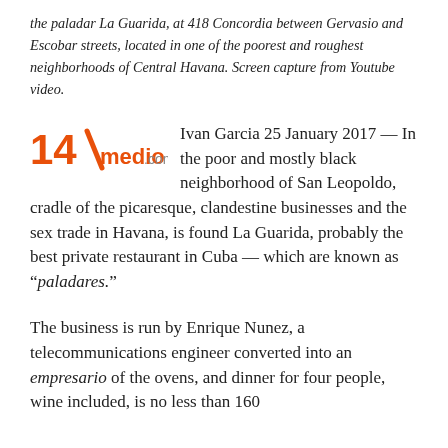the paladar La Guarida, at 418 Concordia between Gervasio and Escobar streets, located in one of the poorest and roughest neighborhoods of Central Havana. Screen capture from Youtube video.
[Figure (logo): 14ymedio.com logo with orange '14' and slash, bold 'medio' in orange and '.com' in gray]
Ivan Garcia 25 January 2017 — In the poor and mostly black neighborhood of San Leopoldo, cradle of the picaresque, clandestine businesses and the sex trade in Havana, is found La Guarida, probably the best private restaurant in Cuba — which are known as "paladares."
The business is run by Enrique Nunez, a telecommunications engineer converted into an empresario of the ovens, and dinner for four people, wine included, is no less than 160